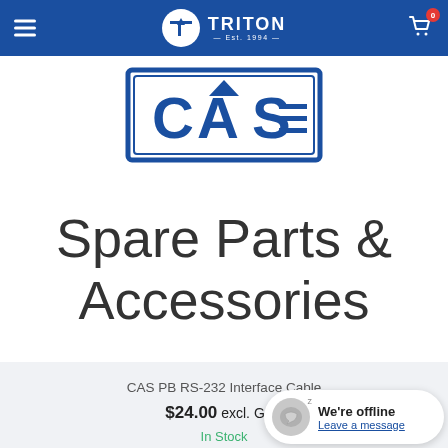TRITON Est. 1894
[Figure (logo): CAS brand logo — bold blue letters CAS in rectangular frame]
Spare Parts & Accessories
CAS PB RS-232 Interface Cable
$24.00 excl. GST
In Stock
We're offline
Leave a message